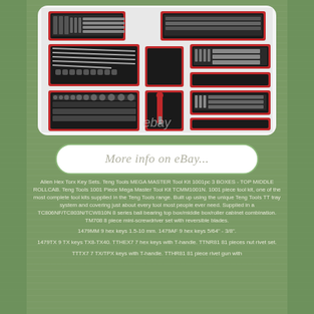[Figure (photo): Teng Tools MEGA MASTER Tool Kit 1001pc showing multiple red tool trays and cabinets with tools arranged inside, with an eBay watermark]
[Figure (screenshot): eBay listing button reading 'More info on eBay...' in an oval rounded rectangle button]
Allen Hex Torx Key Sets. Teng Tools MEGA MASTER Tool Kit 1001pc 3 BOXES - TOP MIDDLE ROLLCAB. Teng Tools 1001 Piece Mega Master Tool Kit TCMM1001N. 1001 piece tool kit, one of the most complete tool kits supplied in the Teng Tools range. Built up using the unique Teng Tools TT tray system and covering just about every tool most people ever need. Supplied in a TC806NF/TC803N/TCW810N 8 series ball bearing top box/middle box/roller cabinet combination. TM708 8 piece mini-screwdriver set with reversible blades.
1479MM 9 hex keys 1.5-10 mm. 1479AF 9 hex keys 5/64" - 3/8".
1479TX 9 TX keys TX8-TX40. TTHEX7 7 hex keys with T-handle. TTNR81 81 pieces nut rivet set.
TTTX7 7 TX/TPX keys with T-handle. TTHR81 81 piece rivet gun with